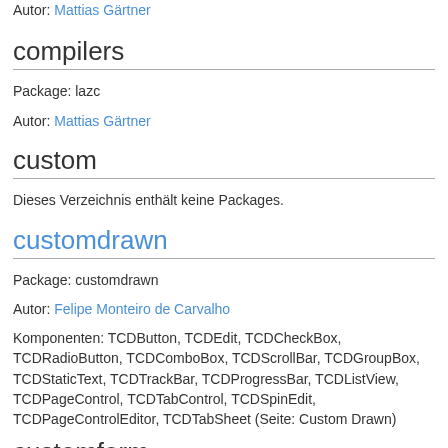Autor: Mattias Gärtner
compilers
Package: lazc
Autor: Mattias Gärtner
custom
Dieses Verzeichnis enthält keine Packages.
customdrawn
Package: customdrawn
Autor: Felipe Monteiro de Carvalho
Komponenten: TCDButton, TCDEdit, TCDCheckBox, TCDRadioButton, TCDComboBox, TCDScrollBar, TCDGroupBox, TCDStaticText, TCDTrackBar, TCDProgressBar, TCDListView, TCDPageControl, TCDTabControl, TCDSpinEdit, TCDPageControlEditor, TCDTabSheet (Seite: Custom Drawn)
customform